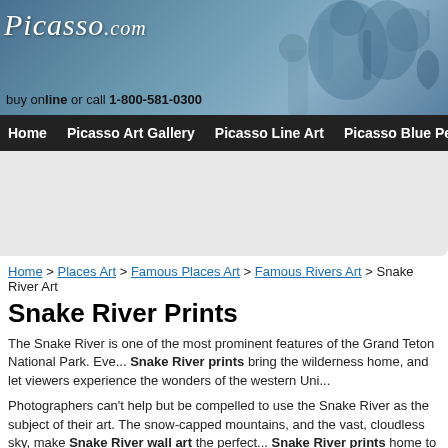[Figure (illustration): Picasso.com website header with logo text and artistic blue-toned background figures]
buy online or call 1-800-581-0300
Home | Picasso Art Gallery | Picasso Line Art | Picasso Blue Period | Pica
[Figure (other): Advertisement banner area (white/light gray box)]
Home > Places Art > Famous Places Art > Famous Rivers Art > Snake River Art
Snake River Prints
The Snake River is one of the most prominent features of the Grand Teton National Park. Eve... Snake River prints bring the wilderness home, and let viewers experience the wonders of the western Uni...
Photographers can't help but be compelled to use the Snake River as the subject of their art. The snow-capped mountains, and the vast, cloudless sky, make Snake River wall art the perfect... Snake River prints home to remind them of their outdoor adventures.
Related categories you might be interested in:
SUBJECTS : Places Art : United States Art : Washington Art
SUBJECTS : Places Art : United States Art : Idaho Art
SUBJECTS : Famous Places Art : National Park Art : Yellowstone National Park Art
SUBJECTS : Famous Places Art : National Park Art : Grand Teton National Park Art
Snake River Art